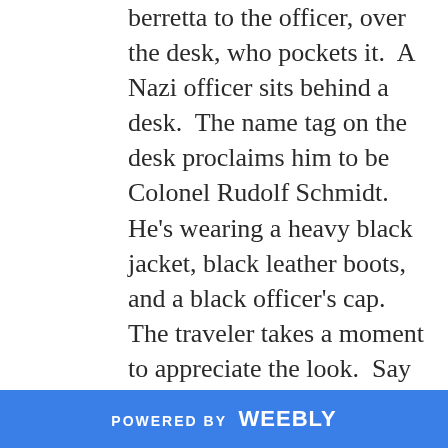berretta to the officer, over the desk, who pockets it.  A Nazi officer sits behind a desk.  The name tag on the desk proclaims him to be Colonel Rudolf Schmidt.  He's wearing a heavy black jacket, black leather boots, and a black officer's cap.  The traveler takes a moment to appreciate the look.  Say what you will about the Nazi's, they have style.

He smiles at the German officer, and hopes like hell he speaks English.  He doesn't have many rules, but one of them is as
POWERED BY weebly